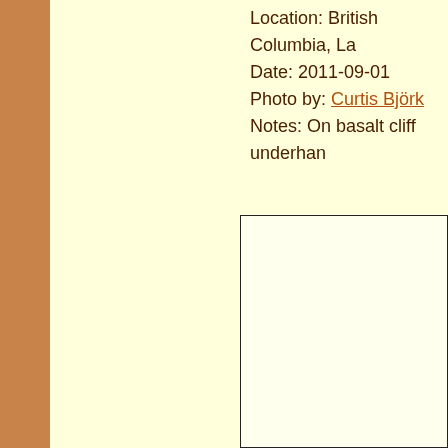Location: British Columbia, La...
Date: 2011-09-01
Photo by: Curtis Björk
Notes: On basalt cliff underhan...
[Figure (photo): A mostly blank cream/light yellow rectangular area with a dark border, likely a photo placeholder or empty image frame.]